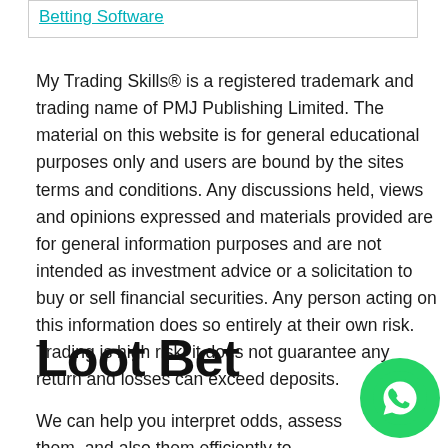[Figure (other): Box with a teal/cyan underlined hyperlink text 'Betting Software']
My Trading Skills® is a registered trademark and trading name of PMJ Publishing Limited. The material on this website is for general educational purposes only and users are bound by the sites terms and conditions. Any discussions held, views and opinions expressed and materials provided are for general information purposes and are not intended as investment advice or a solicitation to buy or sell financial securities. Any person acting on this information does so entirely at their own risk. Trading is high risk, it does not guarantee any return and losses can exceed deposits.
Loot Bet
We can help you interpret odds, assess them, and also them efficiently to increase your chances of winning a b and get more money back. Technology gives you an